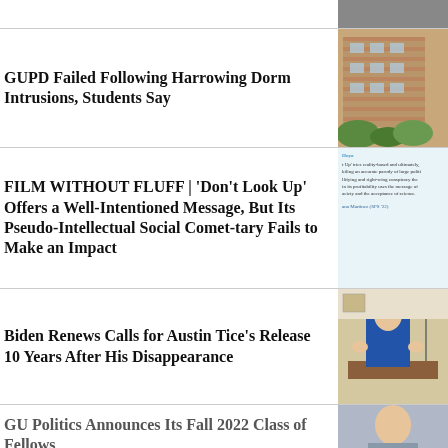GUPD Failed Following Harrowing Dorm Intrusions, Students Say
[Figure (photo): Photo of a brick dormitory building exterior]
FILM WITHOUT FLUFF | 'Don't Look Up' Offers a Well-Intentioned Message, But Its Pseudo-Intellectual Social Comet-tary Fails to Make an Impact
[Figure (screenshot): Screenshot of article text about Don't Look Up film review]
Biden Renews Calls for Austin Tice's Release 10 Years After His Disappearance
[Figure (photo): Photo of Biden at desk in Oval Office with American flag]
GU Politics Announces Its Fall 2022 Class of Fellows
[Figure (photo): Partial photo of people, partially cropped at bottom of page]